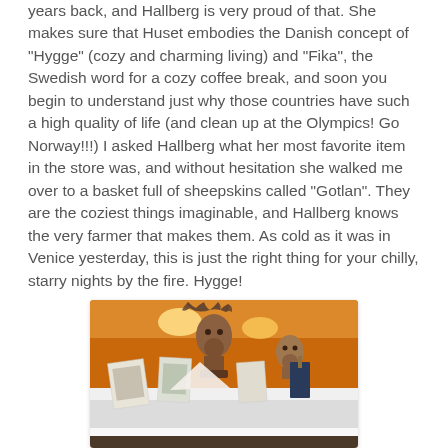years back, and Hallberg is very proud of that. She makes sure that Huset embodies the Danish concept of "Hygge" (cozy and charming living) and "Fika", the Swedish word for a cozy coffee break, and soon you begin to understand just why those countries have such a high quality of life (and clean up at the Olympics! Go Norway!!!) I asked Hallberg what her most favorite item in the store was, and without hesitation she walked me over to a basket full of sheepskins called "Gotlan". They are the coziest things imaginable, and Hallberg knows the very farmer that makes them. As cold as it was in Venice yesterday, this is just the right thing for your chilly, starry nights by the fire. Hygge!
[Figure (photo): Interior photo of a shop showing taxidermy deer/stag heads mounted on an orange wall, with greeting cards or prints displayed on a white shelf below. Two deer heads visible — one large with antlers in center, one smaller to the right.]